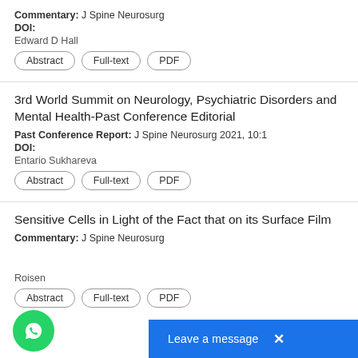Commentary: J Spine Neurosurg
DOI:
Edward D Hall
Abstract | Full-text | PDF
3rd World Summit on Neurology, Psychiatric Disorders and Mental Health-Past Conference Editorial
Past Conference Report: J Spine Neurosurg 2021, 10:1
DOI:
Entario Sukhareva
Abstract | Full-text | PDF
Sensitive Cells in Light of the Fact that on its Surface Film
Commentary: J Spine Neurosurg
Roisen
Abstract | Full-text | PDF